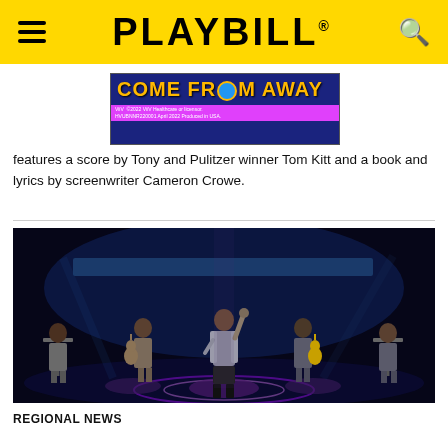PLAYBILL
[Figure (photo): Come From Away musical logo/playbill cover with yellow text on dark blue background, with a magenta strip showing licensing/production info: ©2022 ViiV Healthcare or licensor, ViiV HVUBNNR220001 April 2022 Produced in USA.]
features a score by Tony and Pulitzer winner Tom Kitt and a book and lyrics by screenwriter Cameron Crowe.
[Figure (photo): Stage photo of a musical performance. Five performers on a darkly lit stage — one central figure with arm raised wearing a grey coat, surrounded by four others including musicians with keyboards and a guitar. Stage has blue and purple lighting with circular floor design.]
REGIONAL NEWS